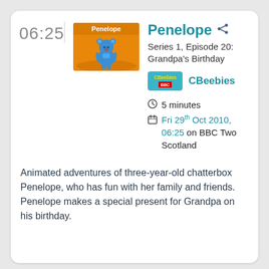06:25
[Figure (illustration): Thumbnail image of the Penelope animated show: blue koala character on an orange background with the text 'Penelope' at the top.]
Penelope
Series 1, Episode 20: Grandpa's Birthday
[Figure (logo): CBeebies BBC channel logo badge in teal/blue colors]
CBeebies
5 minutes
Fri 29th Oct 2010, 06:25 on BBC Two Scotland
Animated adventures of three-year-old chatterbox Penelope, who has fun with her family and friends. Penelope makes a special present for Grandpa on his birthday.